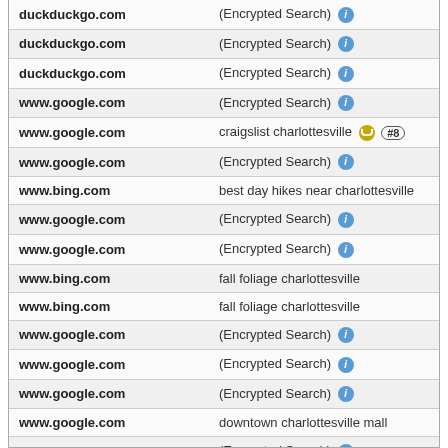| Source | Search Term |
| --- | --- |
| duckduckgo.com | (Encrypted Search) ℹ |
| duckduckgo.com | (Encrypted Search) ℹ |
| duckduckgo.com | (Encrypted Search) ℹ |
| www.google.com | (Encrypted Search) ℹ |
| www.google.com | craigslist charlottesville 🟡 #8 |
| www.google.com | (Encrypted Search) ℹ |
| www.bing.com | best day hikes near charlottesville |
| www.google.com | (Encrypted Search) ℹ |
| www.google.com | (Encrypted Search) ℹ |
| www.bing.com | fall foliage charlottesville |
| www.bing.com | fall foliage charlottesville |
| www.google.com | (Encrypted Search) ℹ |
| www.google.com | (Encrypted Search) ℹ |
| www.google.com | (Encrypted Search) ℹ |
| www.google.com | downtown charlottesville mall |
| www.google.com | (Encrypted Search) ℹ |